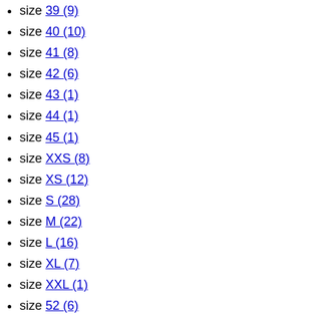size 39 (9)
size 40 (10)
size 41 (8)
size 42 (6)
size 43 (1)
size 44 (1)
size 45 (1)
size XXS (8)
size XS (12)
size S (28)
size M (22)
size L (16)
size XL (7)
size XXL (1)
size 52 (6)
size 54 (6)
size 10 (4)
size 8 (4)
size 60 (4)
size 62 (2)
size U (66)
Gender
Women (37)